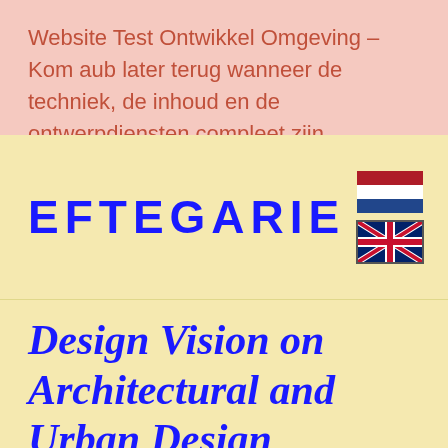Website Test Ontwikkel Omgeving – Kom aub later terug wanneer de techniek, de inhoud en de ontwerpdiensten compleet zijn.
EFTEGARIE
[Figure (illustration): Dutch flag icon (red-white-blue horizontal stripes) in a bordered box]
[Figure (illustration): UK flag icon (Union Jack) in a bordered box]
Design Vision on Architectural and Urban Design Projects